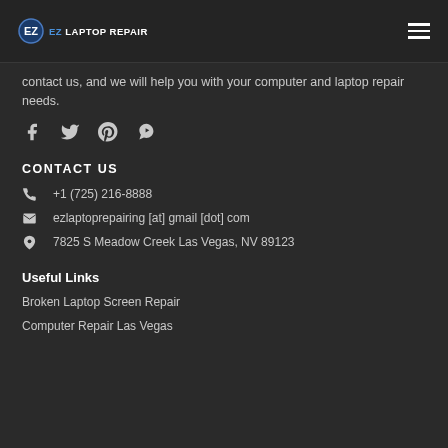EZ Laptop Repair logo and hamburger menu
contact us, and we will help you with your computer and laptop repair needs.
[Figure (logo): Social media icons: Facebook, Twitter, Pinterest, Yelp]
CONTACT US
+1 (725) 216-8888
ezlaptoprepairing [at] gmail [dot] com
7825 S Meadow Creek Las Vegas, NV 89123
Useful Links
Broken Laptop Screen Repair
Computer Repair Las Vegas